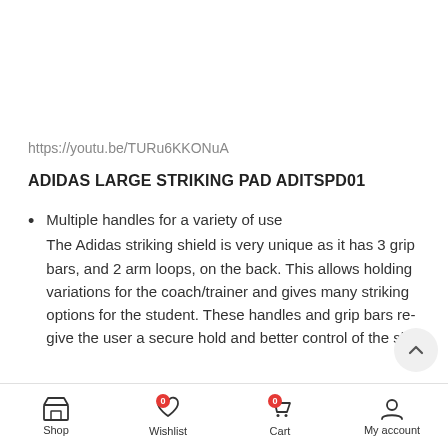https://youtu.be/TURu6KKONuA
ADIDAS LARGE STRIKING PAD ADITSPD01
Multiple handles for a variety of use
The Adidas striking shield is very unique as it has 3 grip bars, and 2 arm loops, on the back. This allows holding variations for the coach/trainer and gives many striking options for the student. These handles and grip bars really give the user a secure hold and better control of the shield.
Shop | Wishlist 0 | Cart 0 | My account